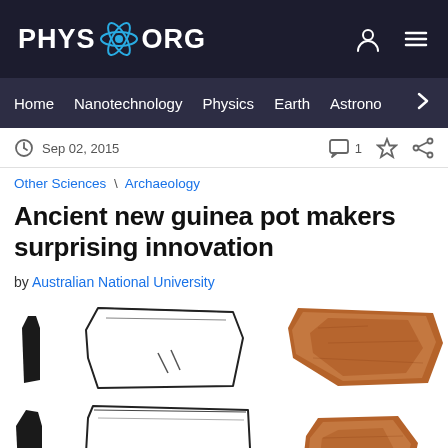PHYS.ORG
Home · Nanotechnology · Physics · Earth · Astronomy
Sep 02, 2015
Other Sciences \ Archaeology
Ancient new guinea pot makers surprising innovation
by Australian National University
[Figure (photo): Two rows of pottery sherds — left column shows black silhouette profile drawings, center column shows line drawings of pot fragments with incised decoration marks, right column shows photographs of reddish-brown ceramic pottery sherds.]